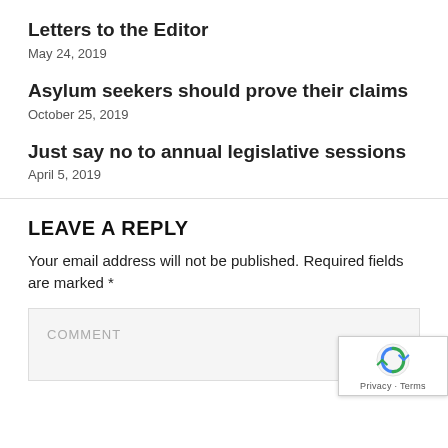Letters to the Editor
May 24, 2019
Asylum seekers should prove their claims
October 25, 2019
Just say no to annual legislative sessions
April 5, 2019
LEAVE A REPLY
Your email address will not be published. Required fields are marked *
COMMENT